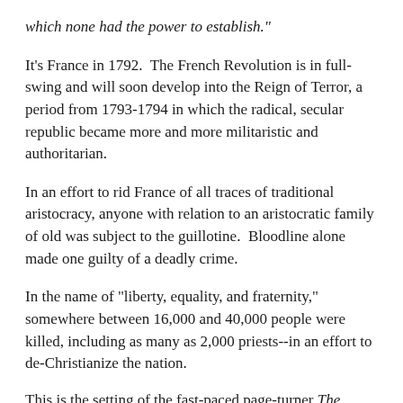which none had the power to establish."
It's France in 1792.  The French Revolution is in full-swing and will soon develop into the Reign of Terror, a period from 1793-1794 in which the radical, secular republic became more and more militaristic and authoritarian.
In an effort to rid France of all traces of traditional aristocracy, anyone with relation to an aristocratic family of old was subject to the guillotine.  Bloodline alone made one guilty of a deadly crime.
In the name of "liberty, equality, and fraternity," somewhere between 16,000 and 40,000 people were killed, including as many as 2,000 priests--in an effort to de-Christianize the nation.
This is the setting of the fast-paced page-turner The Scarlet Pimpernel by Baroness Orczy.